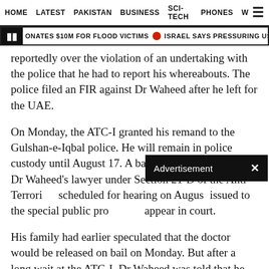HOME  LATEST  PAKISTAN  BUSINESS  SCI-TECH  PHONES  W ☰
⏸ ONATES $10M FOR FLOOD VICTIMS 🔴 ISRAEL SAYS PRESSURING US TO PREVENT IR
reportedly over the violation of an undertaking with the police that he had to report his whereabouts. The police filed an FIR against Dr Waheed after he left for the UAE.
On Monday, the ATC-I granted his remand to the Gulshan-e-Iqbal police. He will remain in police custody until August 17. A bail application, moved by Dr Waheed's lawyer under Section 21-D of the Anti-Terrori… scheduled for hearing on Augus… issued to the special public pro… appear in court.
[Figure (other): Advertisement overlay bar with 'Advertisement' text and close (x) button]
His family had earlier speculated that the doctor would be released on bail on Monday. But after a long wait at the ATC-I, Dr Waheed was told that he would have to remain with the police for a while. "I think the court to be sure till